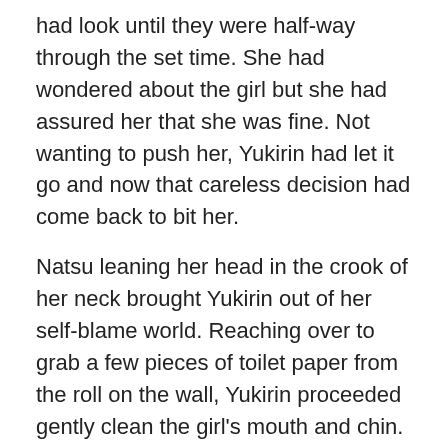had look until they were half-way through the set time. She had wondered about the girl but she had assured her that she was fine. Not wanting to push her, Yukirin had let it go and now that careless decision had come back to bit her.
Natsu leaning her head in the crook of her neck brought Yukirin out of her self-blame world. Reaching over to grab a few pieces of toilet paper from the roll on the wall, Yukirin proceeded gently clean the girl's mouth and chin. It was not an easy task, what with the way she had to bend to see what she was doing as well as trying not to disturb the resting girl who was trying hard to bring her breathing back to normal. But a minute or two is all it took for her to complete the task. Discarding the waste into the toilet, Yukirin reached over and flushed the toilet. She waited until the girl's breathing slowed down before speaking.